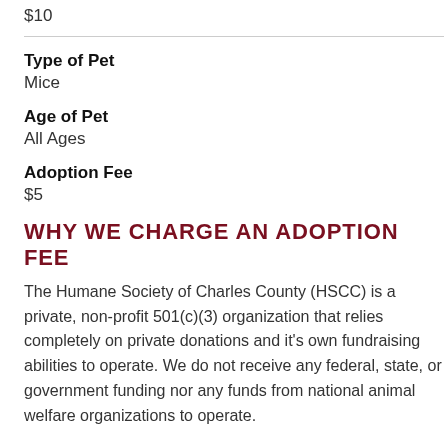$10
Type of Pet
Mice
Age of Pet
All Ages
Adoption Fee
$5
WHY WE CHARGE AN ADOPTION FEE
The Humane Society of Charles County (HSCC) is a private, non-profit 501(c)(3) organization that relies completely on private donations and it's own fundraising abilities to operate. We do not receive any federal, state, or government funding nor any funds from national animal welfare organizations to operate.
WHAT DOES YOUR ADOPTION FEE COVER?